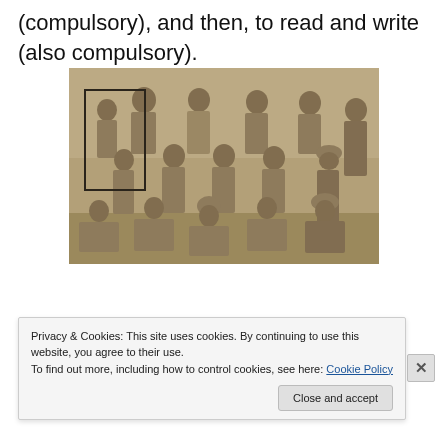(compulsory), and then, to read and write (also compulsory).
[Figure (photo): Sepia group photograph of approximately 14-15 men in military uniforms, posed in three rows. One person in the back-left is highlighted with a black rectangle border.]
Privacy & Cookies: This site uses cookies. By continuing to use this website, you agree to their use.
To find out more, including how to control cookies, see here: Cookie Policy
Close and accept